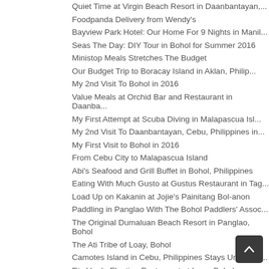Quiet Time at Virgin Beach Resort in Daanbantayan,...
Foodpanda Delivery from Wendy's
Bayview Park Hotel: Our Home For 9 Nights in Manil...
Seas The Day: DIY Tour in Bohol for Summer 2016
Ministop Meals Stretches The Budget
Our Budget Trip to Boracay Island in Aklan, Philip...
My 2nd Visit To Bohol in 2016
Value Meals at Orchid Bar and Restaurant in Daanba...
My First Attempt at Scuba Diving in Malapascua Isl...
My 2nd Visit To Daanbantayan, Cebu, Philippines in...
My First Visit to Bohol in 2016
From Cebu City to Malapascua Island
Abi's Seafood and Grill Buffet in Bohol, Philippines
Eating With Much Gusto at Gustus Restaurant in Tag...
Load Up on Kakanin at Jojie's Painitang Bol-anon
Paddling in Panglao With The Bohol Paddlers' Assoc...
The Original Dumaluan Beach Resort in Panglao, Bohol
The Ati Tribe of Loay, Bohol
Camotes Island in Cebu, Philippines Stays Under Th...
Rio Verde Floating Restaurant at Loay, Bohol
Texas Pork Ribs at Sun Café
White House: The President Carlos P. Garcia Airport...